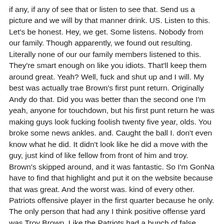if any, if any of see that or listen to see that. Send us a picture and we will by that manner drink. US. Listen to this. Let's be honest. Hey, we get. Some listens. Nobody from our family. Though apparently, we found out resulting. Literally none of our our family members listened to this. They're smart enough on like you idiots. That'll keep them around great. Yeah? Well, fuck and shut up and I will. My best was actually trae Brown's first punt return. Originally Andy do that. Did you was better than the second one I'm yeah, anyone for touchdown, but his first punt return he was making guys look fucking foolish twenty five year, olds. You broke some news ankles. and. Caught the ball I. don't even know what he did. It didn't look like he did a move with the guy, just kind of like fellow from front of him and troy. Brown's skipped around, and it was fantastic. So I'm GonNa have to find that highlight and put it on the website because that was great. And the worst was. kind of every other. Patriots offensive player in the first quarter because he only. The only person that had any I think positive offense yard was Troy Brown. Like the Patriots had a bunch of false starts and shit and the first drive, they had the false start. And then second play Brady got sacked as A teen. House third and eighteen, and based then second drive. Patriot Brown is right, and like